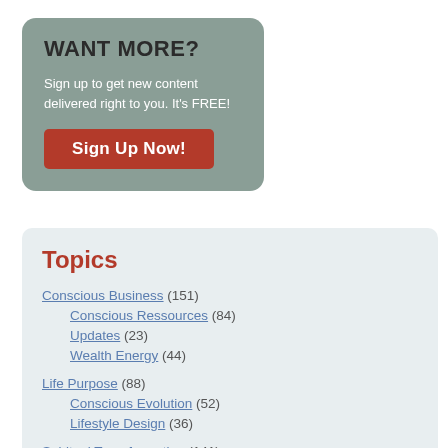WANT MORE?
Sign up to get new content delivered right to you. It's FREE!
Sign Up Now!
Topics
Conscious Business (151)
Conscious Ressources (84)
Updates (23)
Wealth Energy (44)
Life Purpose (88)
Conscious Evolution (52)
Lifestyle Design (36)
Spiritual Transformation (141)
Consciousness Shift (75)